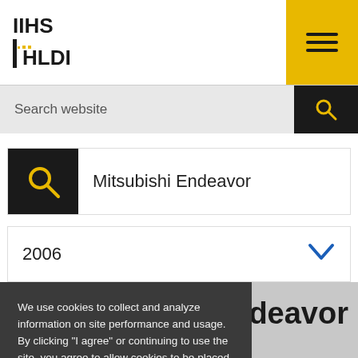IIHS HLDI
Search website
Mitsubishi Endeavor
2006
We use cookies to collect and analyze information on site performance and usage. By clicking "I agree" or continuing to use the site, you agree to allow cookies to be placed.
PRIVACY POLICY   I AGREE
Endeavor